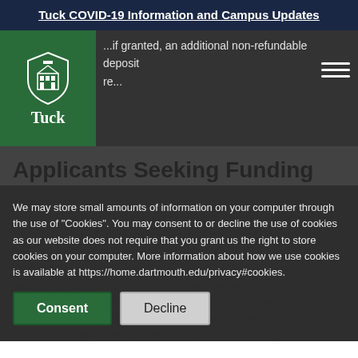Tuck COVID-19 Information and Campus Updates
...if granted, an additional non-refundable deposit... re...
Applicants Seeking Funding
Tuck uses discretion in awarding scholarships to incoming... distinctly... offer outstanding students who, absent funding, might not attend the Tuck School. There is no separate application process for Tuck scholarships; you receive consideration for scholarship based on your application materials.
...automatically renew for students who maintain ...a...ess throughout the first year.
We may store small amounts of information on your computer through the use of "Cookies". You may consent to or decline the use of cookies as our website does not require that you grant us the right to store cookies on your computer. More information about how we use cookies is available at https://home.dartmouth.edu/privacy#cookies.